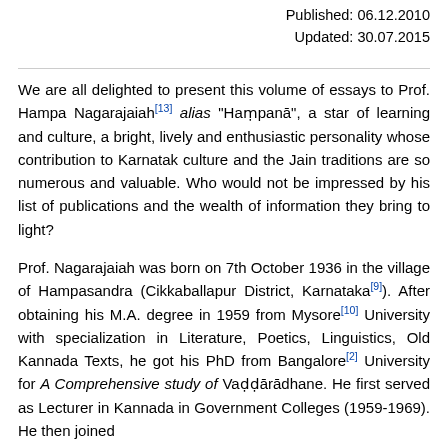Published: 06.12.2010
Updated: 30.07.2015
We are all delighted to present this volume of essays to Prof. Hampa Nagarajaiah[13] alias "Haṃpanā", a star of learning and culture, a bright, lively and enthusiastic personality whose contribution to Karnatak culture and the Jain traditions are so numerous and valuable. Who would not be impressed by his list of publications and the wealth of information they bring to light?
Prof. Nagarajaiah was born on 7th October 1936 in the village of Hampasandra (Cikkaballapur District, Karnataka[9]). After obtaining his M.A. degree in 1959 from Mysore[10] University with specialization in Literature, Poetics, Linguistics, Old Kannada Texts, he got his PhD from Bangalore[2] University for A Comprehensive study of Vaḍḍārādhane. He first served as Lecturer in Kannada in Government Colleges (1959-1969). He then joined